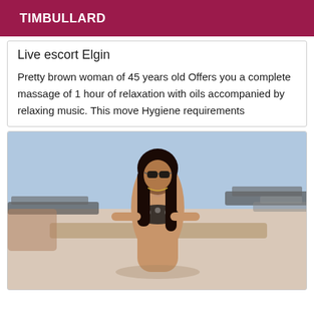TIMBULLARD
Live escort Elgin
Pretty brown woman of 45 years old Offers you a complete massage of 1 hour of relaxation with oils accompanied by relaxing music. This move Hygiene requirements
[Figure (photo): Woman in bikini and sunglasses seated on a lounge chair by a pool, dark hair, poolside setting with other lounge chairs visible]